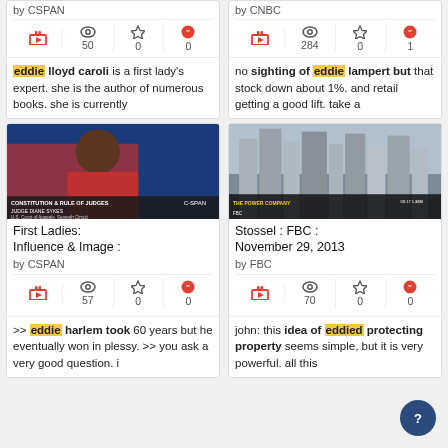Influence & Image : by CSPAN — stats: 50 views, 0 stars, 0 quotes
CNBC November: by CNBC — stats: 284 views, 0 stars, 1 quote
eddie lloyd caroli is a first lady's expert. she is the author of numerous books. she is currently
no sighting of eddie lampert but that stock down about 1%. and retail getting a good lift. take a
[Figure (photo): Video thumbnail showing a woman in red jacket speaking, CSPAN lower-third caption: CONSTITUTION & RULE OF JUDGES, JUDGE DIANE SYKES, U.S. Court of Appeals, Seventh Circuit]
[Figure (photo): Video thumbnail showing city skyline with tall buildings, FBC The Power Company chyron]
First Ladies: Influence & Image : by CSPAN — stats: 57 views, 0 stars, 0 quotes
Stossel : FBC : November 29, 2013 by FBC — stats: 70 views, 0 stars, 0 quotes
>> eddie harlem took 60 years but he eventually won in plessy. >> you ask a very good question. i
john: this idea of eddied protecting property seems simple, but it is very powerful. all this